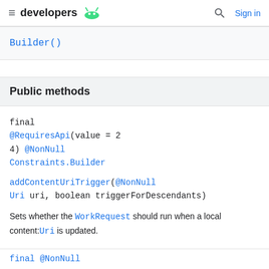developers [android logo] | [search] Sign in
Builder()
Public methods
final
@RequiresApi(value = 2
4) @NonNull
Constraints.Builder
addContentUriTrigger(@NonNull
Uri uri, boolean triggerForDescendants)
Sets whether the WorkRequest should run when a local content:Uri is updated.
final @NonNull